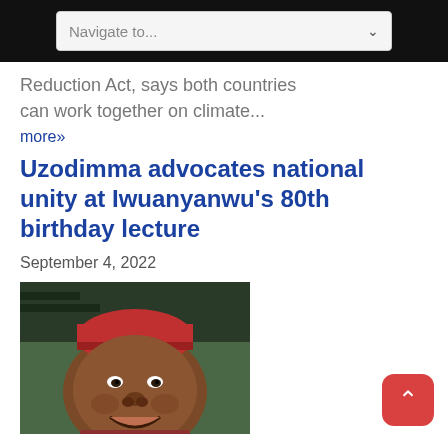Navigate to...
Reduction Act, says both countries can work together on climate...
more»
Uzodimma advocates national unity at Iwuanyanwu's 80th birthday lecture
September 4, 2022
[Figure (photo): Portrait photo of a man wearing a red cap, smiling, in traditional attire]